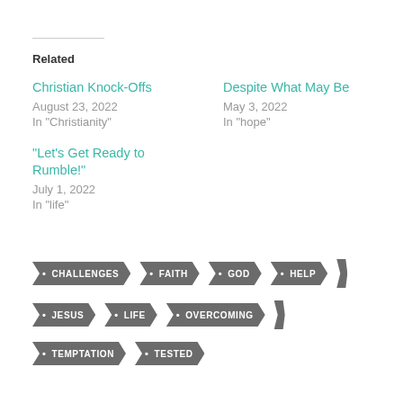Related
Christian Knock-Offs
August 23, 2022
In "Christianity"
Despite What May Be
May 3, 2022
In "hope"
“Let’s Get Ready to Rumble!”
July 1, 2022
In "life"
CHALLENGES
FAITH
GOD
HELP
JESUS
LIFE
OVERCOMING
TEMPTATION
TESTED